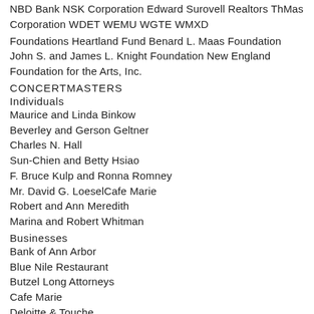NBD Bank NSK Corporation Edward Surovell Realtors ThMas Corporation WDET WEMU WGTE WMXD
Foundations Heartland Fund Benard L. Maas Foundation John S. and James L. Knight Foundation New England Foundation for the Arts, Inc.
CONCERTMASTERS
Individuals
Maurice and Linda Binkow
Beverley and Gerson Geltner
Charles N. Hall
Sun-Chien and Betty Hsiao
F. Bruce Kulp and Ronna Romney
Mr. David G. LoeselCafe Marie
Robert and Ann Meredith
Marina and Robert Whitman
Businesses
Bank of Ann Arbor
Blue Nile Restaurant
Butzel Long Attorneys
Cafe Marie
Deloitte & Touche
Miller, Canfield, Paddock, and Stone
Pepper, Hamilton & Scheetz